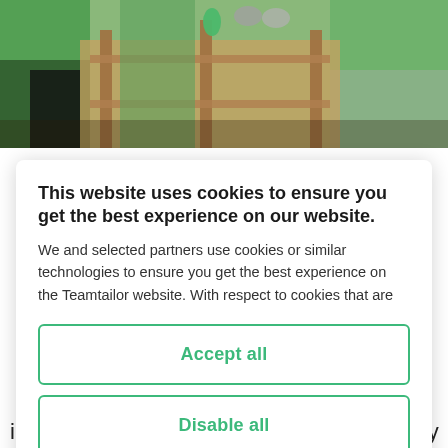[Figure (photo): Photo of people in green shirts working on a wooden structure outdoors]
This website uses cookies to ensure you get the best experience on our website.
We and selected partners use cookies or similar technologies to ensure you get the best experience on the Teamtailor website. With respect to cookies that are
Accept all
Disable all
Cookie preferences
improvements in education, equality, energy